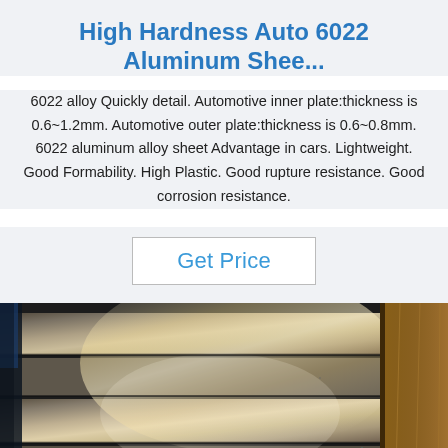High Hardness Auto 6022 Aluminum Shee...
6022 alloy Quickly detail. Automotive inner plate:thickness is 0.6~1.2mm. Automotive outer plate:thickness is 0.6~0.8mm. 6022 aluminum alloy sheet Advantage in cars. Lightweight. Good Formability. High Plastic. Good rupture resistance. Good corrosion resistance.
Get Price
[Figure (photo): Photograph of aluminum sheet rolls/coils stacked, with metallic silver surface visible, a yellowish plastic wrapping on the right side, and a blue 'TOP' logo watermark in the lower right corner.]